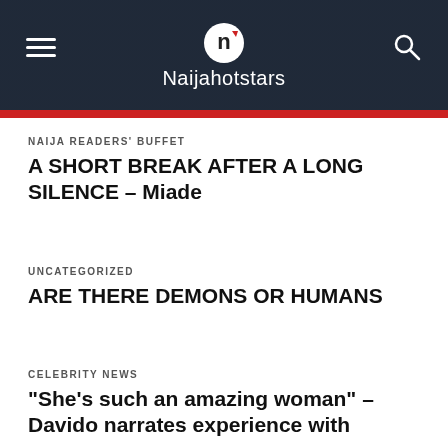Naijahotstars
NAIJA READERS' BUFFET
A SHORT BREAK AFTER A LONG SILENCE – Miade
UNCATEGORIZED
ARE THERE DEMONS OR HUMANS
CELEBRITY NEWS
“She’s such an amazing woman” – Davido narrates experience with